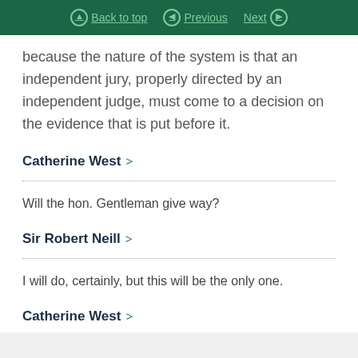Back to top  Previous  Next
because the nature of the system is that an independent jury, properly directed by an independent judge, must come to a decision on the evidence that is put before it.
Catherine West >
Will the hon. Gentleman give way?
Sir Robert Neill >
I will do, certainly, but this will be the only one.
Catherine West >